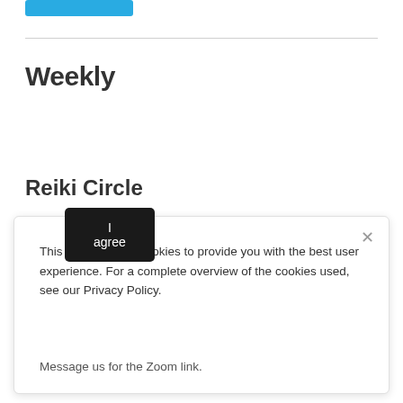[Figure (other): Blue button/banner at the top of the page]
Weekly
Reiki Circle
This website uses cookies to provide you with the best user experience. For a complete overview of the cookies used, see our Privacy Policy.
I agree
Message us for the Zoom link.